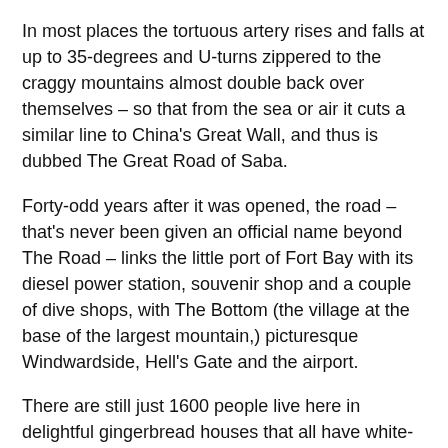In most places the tortuous artery rises and falls at up to 35-degrees and U-turns zippered to the craggy mountains almost double back over themselves – so that from the sea or air it cuts a similar line to China's Great Wall, and thus is dubbed The Great Road of Saba.
Forty-odd years after it was opened, the road – that's never been given an official name beyond The Road – links the little port of Fort Bay with its diesel power station, souvenir shop and a couple of dive shops, with The Bottom (the village at the base of the largest mountain,) picturesque Windwardside, Hell's Gate and the airport.
There are still just 1600 people live here in delightful gingerbread houses that all have white-washed walls, red tile roofs and green window shutters – enforced by law.
And old-timers will recall how, before The Road was built, to get from their wharf to their homes they had constructed a series of ladders with over 900 steps from sea level to link with mountain walking tracks and trails to their farms, homes,